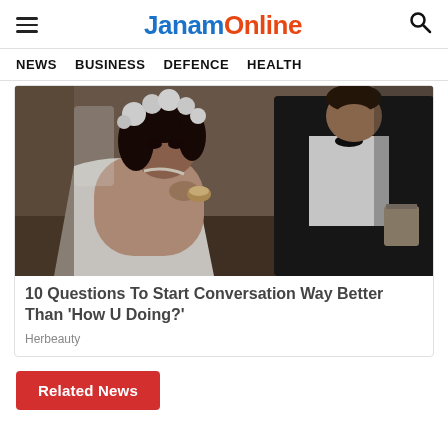JanamOnline
NEWS   BUSINESS   DEFENCE   HEALTH
[Figure (photo): A bride in a white wedding dress with floral headpiece biting into food, with a groom in a tuxedo and bow tie seated beside her.]
10 Questions To Start Conversation Way Better Than 'How U Doing?'
Herbeauty
Related News